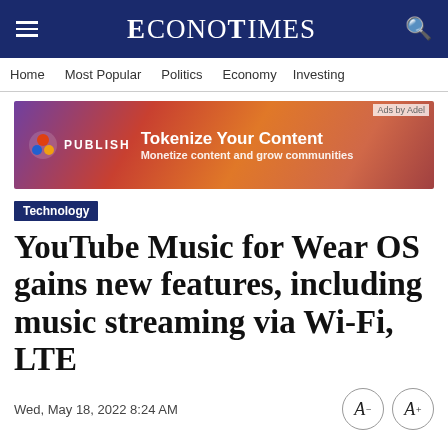ECONOTIMES
Home  Most Popular  Politics  Economy  Investing
[Figure (other): Advertisement banner: PUBLISH - Tokenize Your Content - Monetize content and grow communities]
Technology
YouTube Music for Wear OS gains new features, including music streaming via Wi-Fi, LTE
Wed, May 18, 2022 8:24 AM